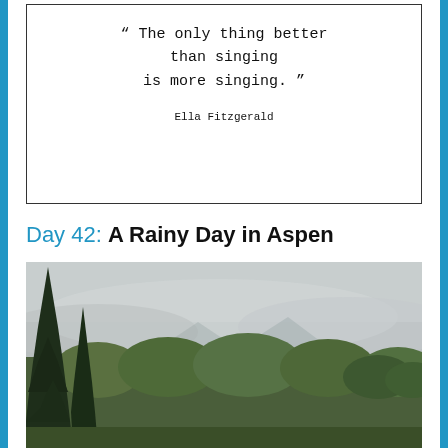[Figure (illustration): Quote box with border containing Ella Fitzgerald quote in typewriter font: '"The only thing better than singing is more singing."' attributed to 'Ella Fitzgerald']
Day 42: A Rainy Day in Aspen
[Figure (photo): Outdoor landscape photo of a rainy day in Aspen. Tall dark green evergreen trees on the left, mixed deciduous trees in the background, overcast grey sky with low clouds obscuring mountains.]